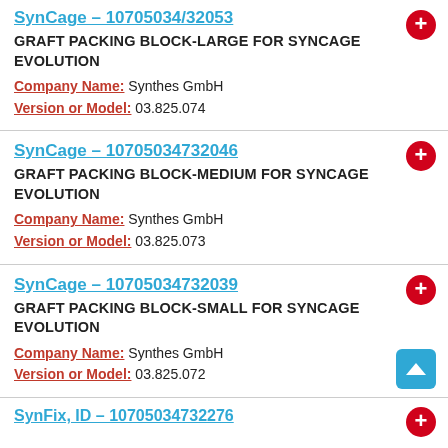SynCage – 10705034/32053
GRAFT PACKING BLOCK-LARGE FOR SYNCAGE EVOLUTION
Company Name: Synthes GmbH
Version or Model: 03.825.074
SynCage – 10705034732046
GRAFT PACKING BLOCK-MEDIUM FOR SYNCAGE EVOLUTION
Company Name: Synthes GmbH
Version or Model: 03.825.073
SynCage – 10705034732039
GRAFT PACKING BLOCK-SMALL FOR SYNCAGE EVOLUTION
Company Name: Synthes GmbH
Version or Model: 03.825.072
SynFix, ID – 10705034732276